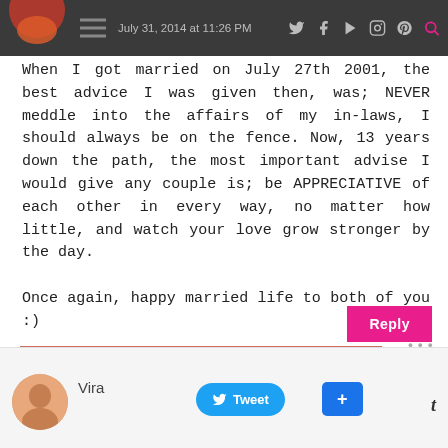July 31, 2014 at 11:26 PM
When I got married on July 27th 2001, the best advice I was given then, was; NEVER meddle into the affairs of my in-laws, I should always be on the fence. Now, 13 years down the path, the most important advise I would give any couple is; be APPRECIATIVE of each other in every way, no matter how little, and watch your love grow stronger by the day.

Once again, happy married life to both of you :)
Vira